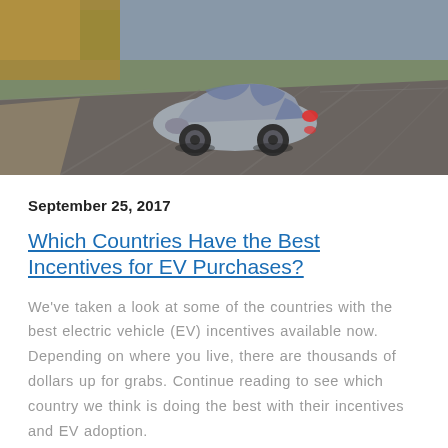[Figure (photo): A silver hatchback electric vehicle (Chevrolet Bolt) driving on a road, viewed from rear three-quarter angle, with motion blur on the road surface and autumn foliage visible in background.]
September 25, 2017
Which Countries Have the Best Incentives for EV Purchases?
We've taken a look at some of the countries with the best electric vehicle (EV) incentives available now. Depending on where you live, there are thousands of dollars up for grabs. Continue reading to see which country we think is doing the best with their incentives and EV adoption.
Read More >